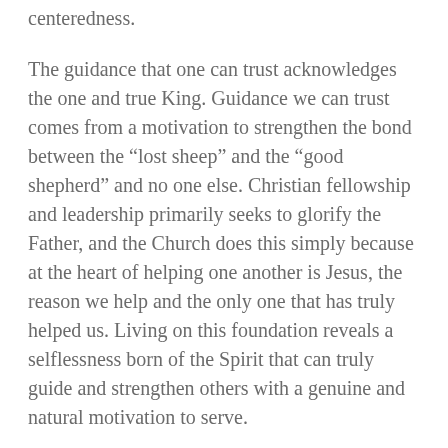centeredness.
The guidance that one can trust acknowledges the one and true King.  Guidance we can trust comes from a motivation to strengthen the bond between the “lost sheep” and the “good shepherd” and no one else.  Christian fellowship and leadership primarily seeks to glorify the Father, and the Church does this simply because at the heart of helping one another is Jesus, the reason we help and the only one that has truly helped us.  Living on this foundation reveals a selflessness born of the Spirit that can truly guide and strengthen others with a genuine and natural motivation to serve.
with a genuine and natural motivation to serve